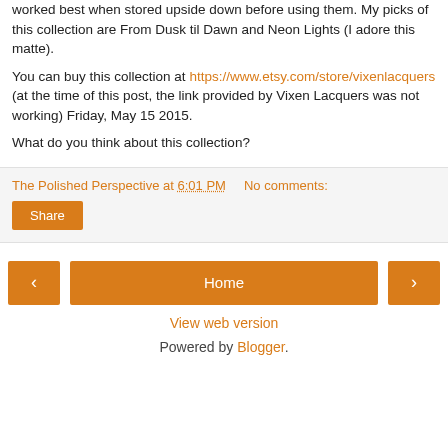worked best when stored upside down before using them. My picks of this collection are From Dusk til Dawn and Neon Lights (I adore this matte).
You can buy this collection at https://www.etsy.com/store/vixenlacquers (at the time of this post, the link provided by Vixen Lacquers was not working) Friday, May 15 2015.
What do you think about this collection?
The Polished Perspective at 6:01 PM    No comments:
Share
Home
View web version
Powered by Blogger.